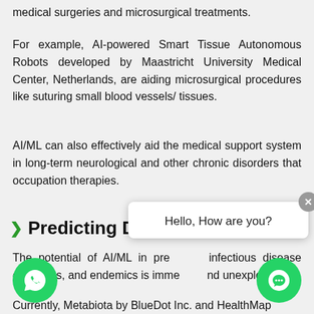medical surgeries and microsurgical treatments.
For example, AI-powered Smart Tissue Autonomous Robots developed by Maastricht University Medical Center, Netherlands, are aiding microsurgical procedures like suturing small blood vessels/ tissues.
AI/ML can also effectively aid the medical support system in long-term neurological and other chronic disorders that occupation therapies.
Predicting Disease Outbreaks
The potential of AI/ML in predicting infectious disease outbreaks, and endemics is immense and unexplored.
Currently, Metabiota by BlueDot Inc. and HealthMap